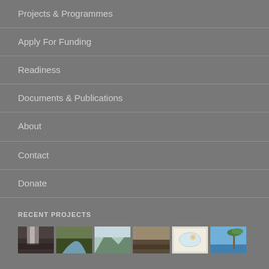Projects & Programmes
Apply For Funding
Readiness
Documents & Publications
About
Contact
Donate
RECENT PROJECTS
[Figure (photo): Six thumbnail photos showing various environmental and natural scenes including waterfalls, rivers, mountains, terrain, a map/document, and a coastal palm scene]